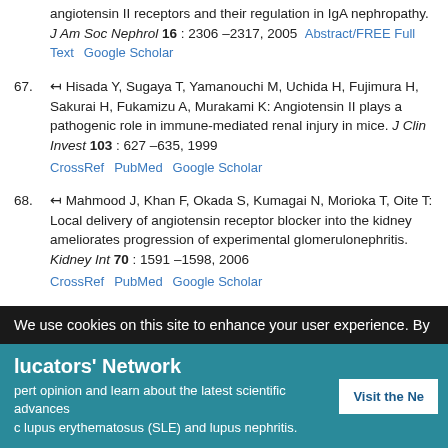angiotensin II receptors and their regulation in IgA nephropathy. J Am Soc Nephrol 16 : 2306 –2317, 2005  Abstract/FREE Full Text  Google Scholar
67. Hisada Y, Sugaya T, Yamanouchi M, Uchida H, Fujimura H, Sakurai H, Fukamizu A, Murakami K: Angiotensin II plays a pathogenic role in immune-mediated renal injury in mice. J Clin Invest 103 : 627 –635, 1999  CrossRef  PubMed  Google Scholar
68. Mahmood J, Khan F, Okada S, Kumagai N, Morioka T, Oite T: Local delivery of angiotensin receptor blocker into the kidney ameliorates progression of experimental glomerulonephritis. Kidney Int 70 : 1591 –1598, 2006  CrossRef  PubMed  Google Scholar
69. Konoshita T, Wakahara S, Mizuno S, Motomura M, Aoyama C, Makino Y, Kawai Y, Kato N, Koni I, Miyamori I, Mabuchi H: Tissue gene expression of renin-angiotensin system in human type 2 diabetic nephropathy. Diabetes Care 29 : 848 –852, 2006  Abstract/FREE Full Text
We use cookies on this site to enhance your user experience. By
lucators' Network   Visit the Ne   pert opinion and learn about the latest scientific advances  c lupus erythematosus (SLE) and lupus nephritis.